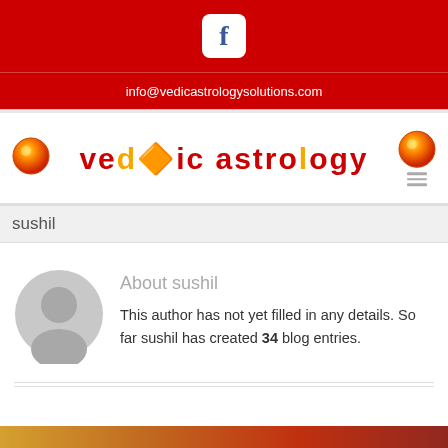[Figure (logo): Facebook icon button (white F on yellow rounded square) on red background]
info@vedicastrologysolutions.com
[Figure (logo): Vedic Astrology logo with decorative text in red/orange with sun symbol, flanked by orange orb icons on white background]
sushil
About sushil
This author has not yet filled in any details. So far sushil has created 34 blog entries.
[Figure (photo): Partial image visible at bottom of page]